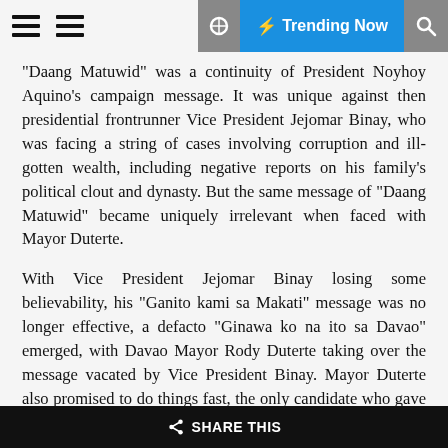Trending Now
"Daang Matuwid" was a continuity of President Noyhoy Aquino's campaign message. It was unique against then presidential frontrunner Vice President Jejomar Binay, who was facing a string of cases involving corruption and ill-gotten wealth, including negative reports on his family's political clout and dynasty. But the same message of “Daang Matuwid” became uniquely irrelevant when faced with Mayor Duterte.
With Vice President Jejomar Binay losing some believability, his “Ganito kami sa Makati” message was no longer effective, a defacto “Ginawa ko na ito sa Davao” emerged, with Davao Mayor Rody Duterte taking over the message vacated by Vice President Binay. Mayor Duterte also promised to do things fast, the only candidate who gave a timetable to his platform. Remember “I will end drugs and criminality in 3 to 6 months”?
SHARE THIS